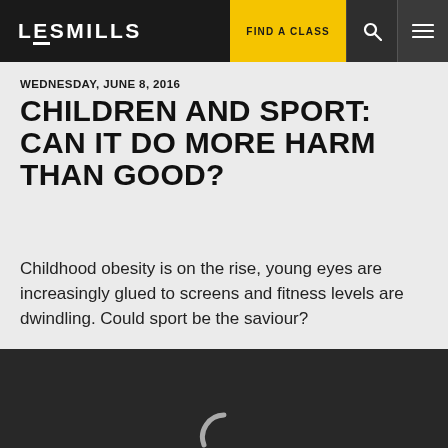LesMills | FIND A CLASS
WEDNESDAY, JUNE 8, 2016
CHILDREN AND SPORT: CAN IT DO MORE HARM THAN GOOD?
Childhood obesity is on the rise, young eyes are increasingly glued to screens and fitness levels are dwindling. Could sport be the saviour?
[Figure (screenshot): Dark grey loading area with a spinning loading indicator (letter C arc) centered]